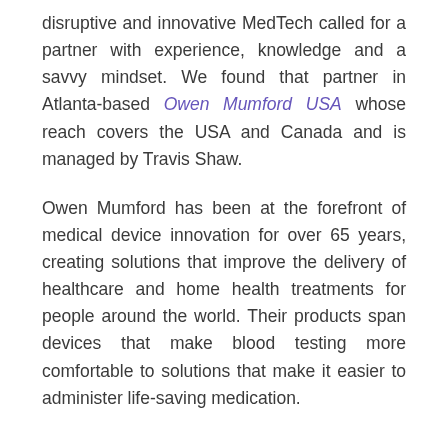disruptive and innovative MedTech called for a partner with experience, knowledge and a savvy mindset. We found that partner in Atlanta-based Owen Mumford USA whose reach covers the USA and Canada and is managed by Travis Shaw.
Owen Mumford has been at the forefront of medical device innovation for over 65 years, creating solutions that improve the delivery of healthcare and home health treatments for people around the world. Their products span devices that make blood testing more comfortable to solutions that make it easier to administer life-saving medication.